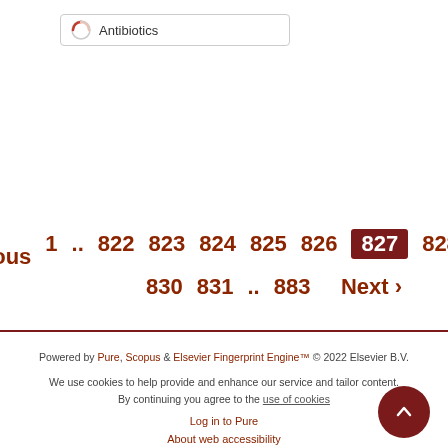[Figure (other): Search box with Antibiotics label and circular loading/brand icon]
‹ Previous  1 .. 822  823  824  825  826  827  828  829  830  831 .. 883  Next ›
Powered by Pure, Scopus & Elsevier Fingerprint Engine™ © 2022 Elsevier B.V.

We use cookies to help provide and enhance our service and tailor content. By continuing you agree to the use of cookies

Log in to Pure

About web accessibility